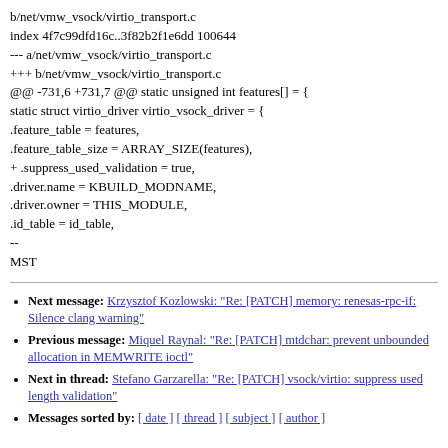b/net/vmw_vsock/virtio_transport.c
index 4f7c99dfd16c..3f82b2f1e6dd 100644
--- a/net/vmw_vsock/virtio_transport.c
+++ b/net/vmw_vsock/virtio_transport.c
@@ -731,6 +731,7 @@ static unsigned int features[] = {
static struct virtio_driver virtio_vsock_driver = {
.feature_table = features,
.feature_table_size = ARRAY_SIZE(features),
+ .suppress_used_validation = true,
.driver.name = KBUILD_MODNAME,
.driver.owner = THIS_MODULE,
.id_table = id_table,
--
MST
Next message: Krzysztof Kozlowski: "Re: [PATCH] memory: renesas-rpc-if: Silence clang warning"
Previous message: Miquel Raynal: "Re: [PATCH] mtdchar: prevent unbounded allocation in MEMWRITE ioctl"
Next in thread: Stefano Garzarella: "Re: [PATCH] vsock/virtio: suppress used length validation"
Messages sorted by: [ date ] [ thread ] [ subject ] [ author ]